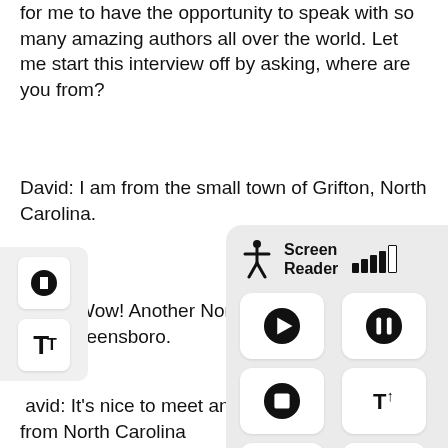for me to have the opportunity to speak with so many amazing authors all over the world. Let me start this interview off by asking, where are you from?
David: I am from the small town of Grifton, North Carolina.
Blaque: Wow! Another North C[arolina person! I went to the Univers]ity of Greensboro.
David: It's nice to meet anothe[r person] from North Carolina
Blaque: Yes, it is always excitin[g to meet someone] else from your neck-of-the-wo[ods. How many] books have you published to d[ate?]
[Figure (screenshot): Screen Reader UI overlay with play, pause, stop, and text size controls, plus accessibility icons and signal bars.]